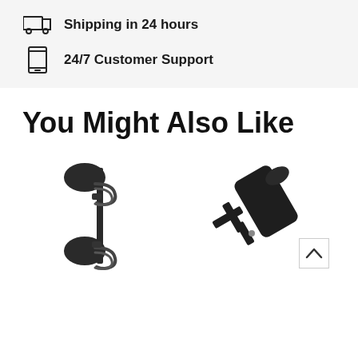Shipping in 24 hours
24/7 Customer Support
You Might Also Like
[Figure (photo): Black dual-mount microphone or instrument holder with two oval disc mounts and two C-clamps on a vertical bar]
[Figure (photo): Black cylindrical adapter or connector with small wing/paddle attachments at one end, on white background]